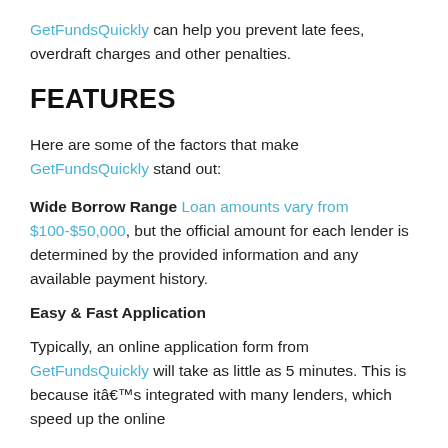GetFundsQuickly can help you prevent late fees, overdraft charges and other penalties.
FEATURES
Here are some of the factors that make GetFundsQuickly stand out:
Wide Borrow Range Loan amounts vary from $100-$50,000, but the official amount for each lender is determined by the provided information and any available payment history.
Easy & Fast Application
Typically, an online application form from GetFundsQuickly will take as little as 5 minutes. This is because itâ€™s integrated with many lenders, which speed up the online